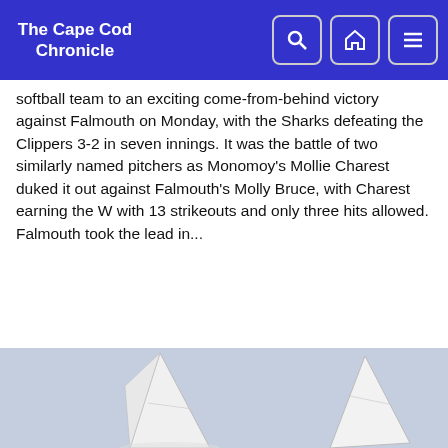The Cape Cod Chronicle
softball team to an exciting come-from-behind victory against Falmouth on Monday, with the Sharks defeating the Clippers 3-2 in seven innings. It was the battle of two similarly named pitchers as Monomoy's Mollie Charest duked it out against Falmouth's Molly Bruce, with Charest earning the W with 13 strikeouts and only three hits allowed. Falmouth took the lead in...
Read more
Taking To The Water With Monomoy Sailing
May 9, 2018
By: Kat Szmit
[Figure (photo): Photo of sailboat sails against a light blue/grey sky, showing white sails from below looking upward]